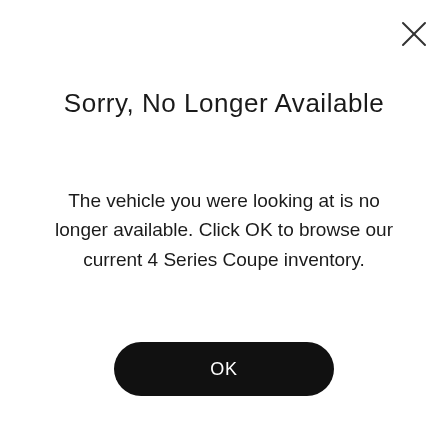[Figure (other): Close (X) button in top-right corner]
Sorry, No Longer Available
The vehicle you were looking at is no longer available. Click OK to browse our current 4 Series Coupe inventory.
OK